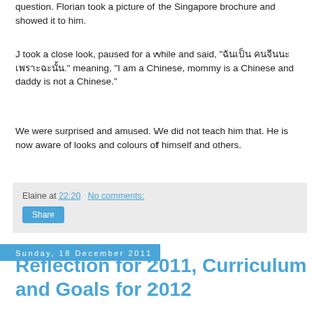question. Florian took a picture of the Singapore brochure and showed it to him.
J took a close look, paused for a while and said, "ฉันเป็น คนจีนนะ เพราะฉะนั้น." meaning, "I am a Chinese, mommy is a Chinese and daddy is not a Chinese."
We were surprised and amused. We did not teach him that. He is now aware of looks and colours of himself and others.
Elaine at 22:20    No comments:
Share
Sunday, 18 December 2011
Reflection for 2011, Curriculum and Goals for 2012
I started Montessori activities when Joshua turned 2 years old. It is now the end of the year, and over the 9 months, we